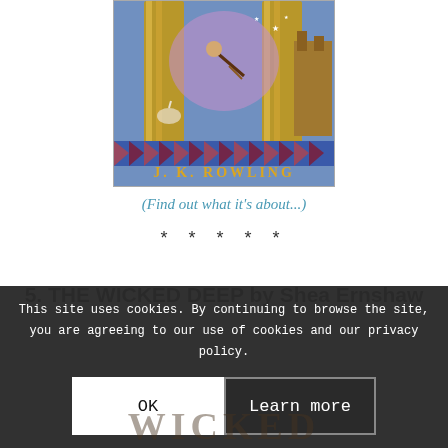[Figure (illustration): Book cover of a Harry Potter book by J.K. Rowling, showing a fantasy scene with a character on a broomstick, columns, and a castle, with J.K. ROWLING written at the bottom in gold letters]
(Find out what it's about...)
* * * * *
5. THE WICKED DEEP by Shea Ernshaw
This site uses cookies. By continuing to browse the site, you are agreeing to our use of cookies and our privacy policy.
OK
Learn more